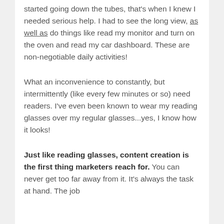started going down the tubes, that's when I knew I needed serious help. I had to see the long view, as well as do things like read my monitor and turn on the oven and read my car dashboard. These are non-negotiable daily activities!
What an inconvenience to constantly, but intermittently (like every few minutes or so) need readers. I've even been known to wear my reading glasses over my regular glasses...yes, I know how it looks!
Just like reading glasses, content creation is the first thing marketers reach for. You can never get too far away from it. It's always the task at hand. The job